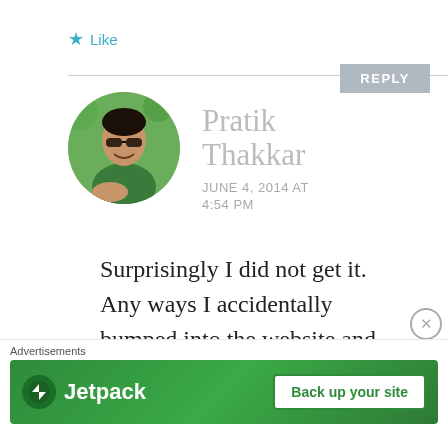★ Like
REPLY
[Figure (photo): Circular profile photo of Pratik Thakkar, a man wearing sunglasses, smiling, outdoors with green foliage background]
Pratik Thakkar
JUNE 4, 2014 AT 4:54 PM
Surprisingly I did not get it. Any ways I accidentally bumped into the website and
Advertisements
[Figure (screenshot): Jetpack advertisement banner with green background showing Jetpack logo and 'Back up your site' button]